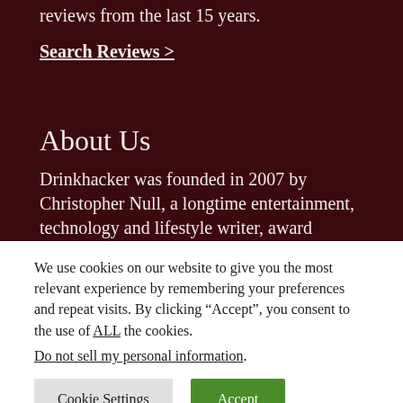reviews from the last 15 years.
Search Reviews >
About Us
Drinkhacker was founded in 2007 by Christopher Null, a longtime entertainment, technology and lifestyle writer, award
We use cookies on our website to give you the most relevant experience by remembering your preferences and repeat visits. By clicking “Accept”, you consent to the use of ALL the cookies.
Do not sell my personal information.